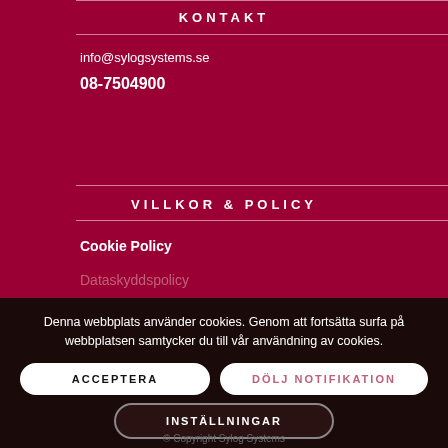KONTAKT
info@sylogsystems.se
08-7504900
VILLKOR & POLICY
Cookie Policy
Dataskyddspolicy
Denna webbplats använder cookies. Genom att fortsätta surfa på webbplatsen samtycker du till vår användning av cookies.
ACCEPTERA
DÖLJ NOTIFIKATION
INSTÄLLNINGAR
© Copyright Sylog Systems